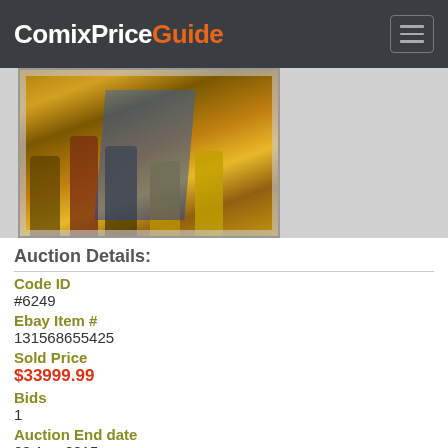ComixPriceGuide
[Figure (photo): Partial view of a graded comic book or trading card in a protective case, showing colorful illustrated figures against a yellow and dark background]
Auction Details:
Code ID
#6249
Ebay Item #
131568655425
Sold Price
$33999.99
Bids
1
Auction End date
08 Aug 2015